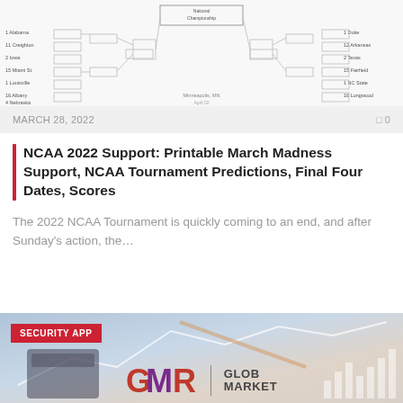[Figure (other): NCAA March Madness tournament bracket diagram showing team matchups with National Championship box in center and Minneapolis, MN location noted]
MARCH 28, 2022   0
NCAA 2022 Support: Printable March Madness Support, NCAA Tournament Predictions, Final Four Dates, Scores
The 2022 NCAA Tournament is quickly coming to an end, and after Sunday's action, the…
[Figure (photo): Business/finance photo showing hands using a calculator with financial charts overlay, with SECURITY APP badge and GMR Glob Market logo at bottom]